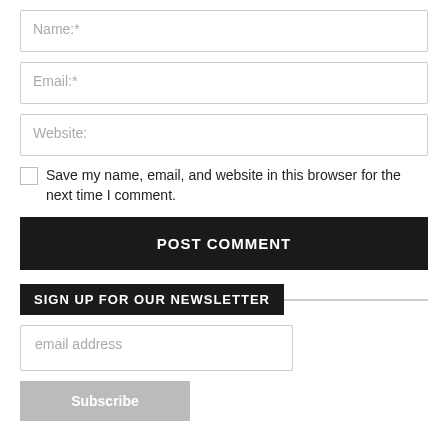Name:*
Email:*
Website:
Save my name, email, and website in this browser for the next time I comment.
POST COMMENT
SIGN UP FOR OUR NEWSLETTER
email address
Subscribe